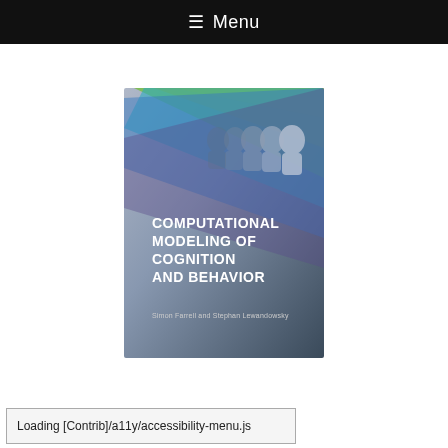≡ Menu
[Figure (illustration): Book cover of 'Computational Modeling of Cognition and Behavior' with colorful rainbow/spectrum design showing silhouettes of human heads and the book title in white text on a gradient background]
Loading [Contrib]/a11y/accessibility-menu.js